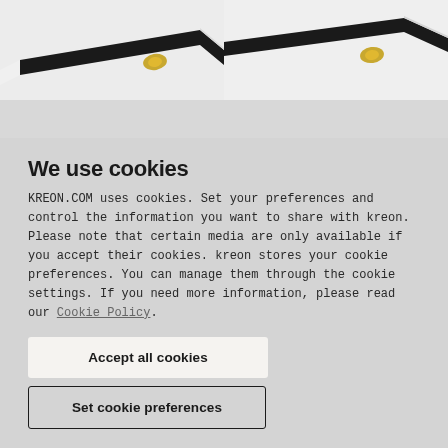[Figure (photo): Two side-by-side photos of a recessed linear lighting fixture with a black bar and gold/brass lamp element on a white ceiling background. Left photo shows fixture angled from left, right photo shows similar view from slightly different angle.]
We use cookies
KREON.COM uses cookies. Set your preferences and control the information you want to share with kreon. Please note that certain media are only available if you accept their cookies. kreon stores your cookie preferences. You can manage them through the cookie settings. If you need more information, please read our Cookie Policy.
Accept all cookies
Set cookie preferences